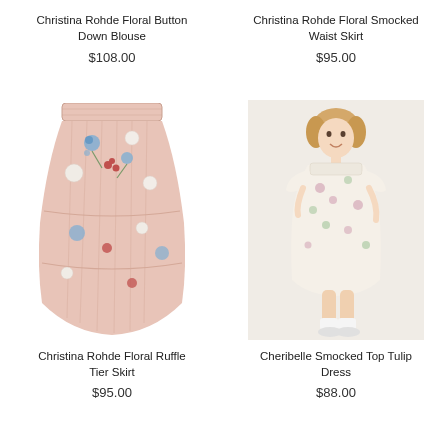Christina Rohde Floral Button Down Blouse
$108.00
Christina Rohde Floral Smocked Waist Skirt
$95.00
[Figure (photo): Pink floral pleated/ruffled skirt product photo on white background]
Christina Rohde Floral Ruffle Tier Skirt
$95.00
[Figure (photo): Young girl wearing a cream/white floral smocked tulip dress with short sleeves, posed against a light background]
Cheribelle Smocked Top Tulip Dress
$88.00